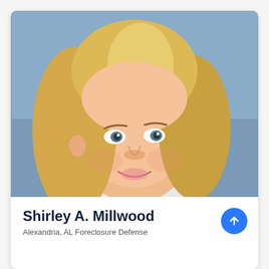[Figure (photo): Professional headshot of Shirley A. Millwood, a woman with blonde hair, smiling, against a blue-grey background.]
Shirley A. Millwood
Alexandria, AL Foreclosure Defense